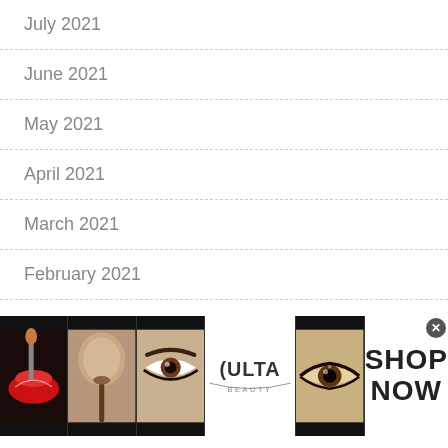July 2021
June 2021
May 2021
April 2021
March 2021
February 2021
January 2021
[Figure (illustration): Ulta Beauty advertisement banner with makeup images (lips with brush, blush brush, eye with eyebrow, Ulta Beauty logo, smoky eye), and SHOP NOW text]